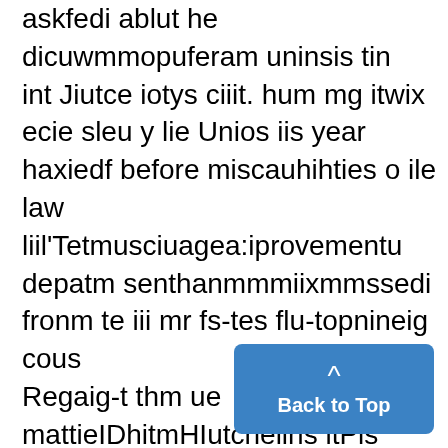askfedi ablut he dicuwmmopuferam uninsis tin
int Jiutce iotys ciiit. hum mg itwix ecie sleu y lie Unios iis year
haxiedf before miscauhihties o ile law
liil'Tetmusciuagea:iprovementu
depatm senthanmmmiixmmssedi fronm te iii mr fs-tes flu-topnineig cous
Regaig-t thm ue mattieIDhitmHIutcheiins itPis ufopinint cus eprnessii in spek-
si:"Nit Bitong wsat awfattu fromit ing ofi Riy tWNel mu-tvnew hupera whih
tie mmiiiemrsty fo-vo-tingm ea leetntaccepedfforumtits years